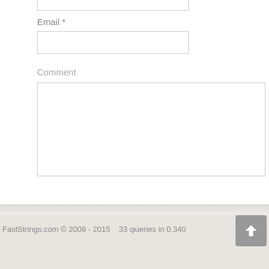Email *
Comment
Submit Comment
FastStrings.com © 2009 - 2015    33 queries in 0.340